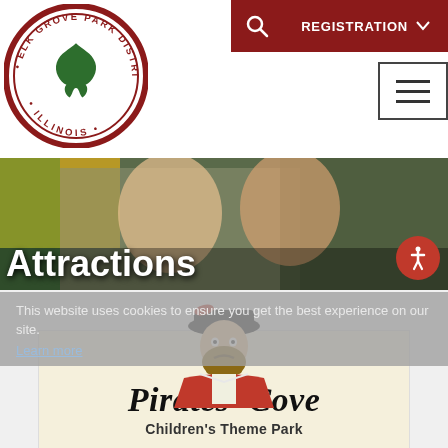[Figure (logo): Elk Grove Park District Illinois circular logo with oak leaf in center, dark red border with text]
[Figure (screenshot): Dark red search icon button (magnifying glass) and REGISTRATION dropdown button on dark red background]
[Figure (screenshot): Hamburger menu icon (three horizontal lines) in square border]
[Figure (photo): Hero banner photo of two children smiling, riding an amusement ride with yellow car visible, outdoor setting]
Attractions
This website uses cookies to ensure you get the best experience on our site.
Learn more
[Figure (logo): Pirates' Cove Children's Theme Park logo with pirate character illustration on cream background]
901 Leicester Rd